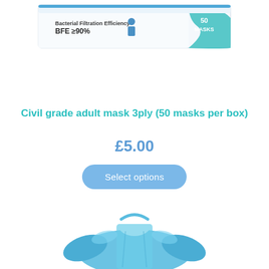[Figure (photo): Product photo of a white box of civil grade adult masks, 3-ply, 50 masks per box. Box shows BFE ≥90% marking and teal/blue design.]
Civil grade adult mask 3ply (50 masks per box)
£5.00
Select options
[Figure (photo): Product photo of a blue disposable isolation gown/apron displayed on a mannequin torso, showing the full garment in light blue non-woven fabric.]